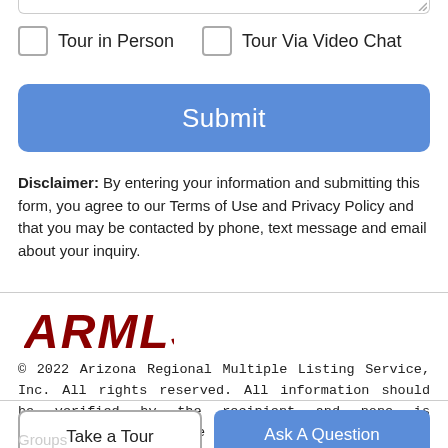Tour in Person
Tour Via Video Chat
Submit
Disclaimer: By entering your information and submitting this form, you agree to our Terms of Use and Privacy Policy and that you may be contacted by phone, text message and email about your inquiry.
[Figure (logo): ARMLS logo in dark red bold italic font]
© 2022 Arizona Regional Multiple Listing Service, Inc. All rights reserved. All information should be verified by the recipient and none is guaranteed as accurate by ARMLS. The ARMLS logo indicates a property listed by a real estate brokerage other than Realty One Group. Data last updated 2022-08-21T00:18:50.97.
Take a Tour
Ask A Question